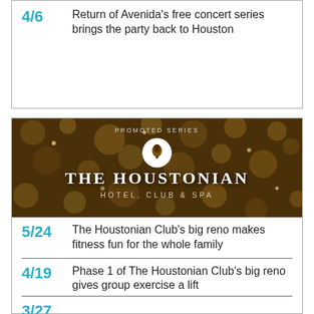4/6 — Return of Avenida's free concert series brings the party back to Houston
[Figure (illustration): The Houstonian Hotel, Club & Spa promotional banner image with dark forest/bokeh background, circular logo, large white text reading THE HOUSTONIAN HOTEL, CLUB & SPA, labeled PROMOTED SERIES]
5/24 — The Houstonian Club's big reno makes fitness fun for the whole family
4/19 — Phase 1 of The Houstonian Club's big reno gives group exercise a lift